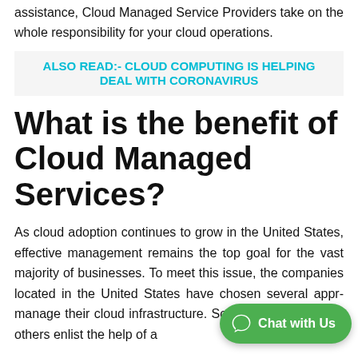assistance, Cloud Managed Service Providers take on the whole responsibility for your cloud operations.
Also Read:- CLOUD COMPUTING IS HELPING DEAL WITH CORONAVIRUS
What is the benefit of Cloud Managed Services?
As cloud adoption continues to grow in the United States, effective management remains the top goal for the vast majority of businesses. To meet this issue, the companies located in the United States have chosen several approaches to manage their cloud infrastructure. So... it themselves, while others enlist the help of a